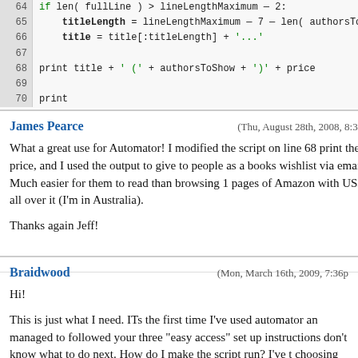[Figure (screenshot): Code snippet showing Python lines 64-70 with line numbers, displaying logic for titleLength and title truncation, and a print statement]
James Pearce
(Thu, August 28th, 2008, 8:34a
What a great use for Automator! I modified the script on line 68 print the price, and I used the output to give to people as a books wishlist via email. Much easier for them to read than browsing 1 pages of Amazon with US$ all over it (I'm in Australia).

Thanks again Jeff!
Braidwood
(Mon, March 16th, 2009, 7:36p
Hi!

This is just what I need. ITs the first time I've used automator an managed to followed your three "easy access" set up instructions don't know what to do next. How do I make the script run? I've t choosing print from the Safari File menu, but that didn't work. Hmm....